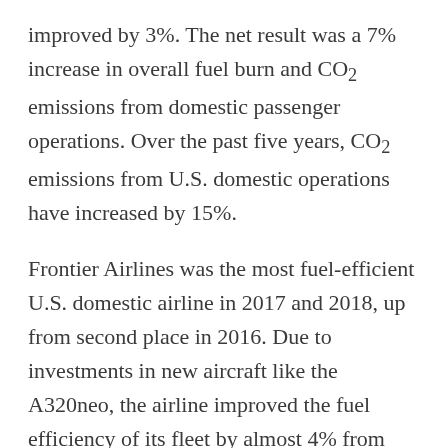improved by 3%. The net result was a 7% increase in overall fuel burn and CO2 emissions from domestic passenger operations. Over the past five years, CO2 emissions from U.S. domestic operations have increased by 15%.
Frontier Airlines was the most fuel-efficient U.S. domestic airline in 2017 and 2018, up from second place in 2016. Due to investments in new aircraft like the A320neo, the airline improved the fuel efficiency of its fleet by almost 4% from 2017 and 2018. Frontier also flew more direct routes, and with more passengers per flight, than the majority of its peers. The second and third